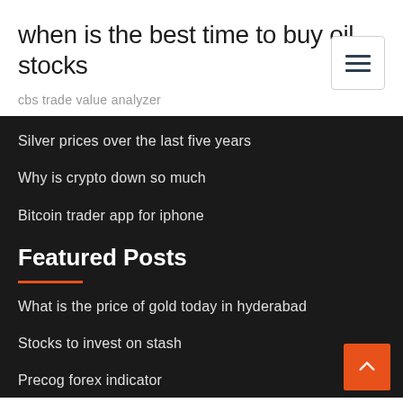when is the best time to buy oil stocks
cbs trade value analyzer
Silver prices over the last five years
Why is crypto down so much
Bitcoin trader app for iphone
Featured Posts
What is the price of gold today in hyderabad
Stocks to invest on stash
Precog forex indicator